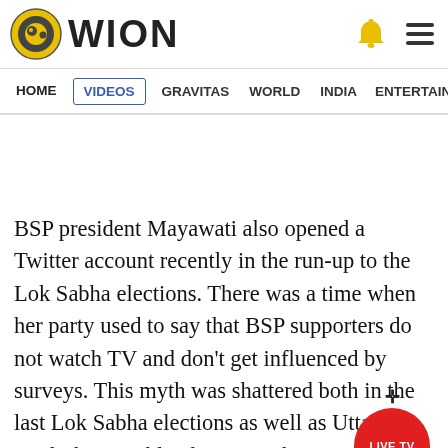WION
[Figure (logo): WION news website header with logo (circular icon with stylized face) and WION text, bell icon and hamburger menu on the right]
[Figure (other): Navigation bar with items: HOME (active, underlined yellow), VIDEOS (boxed in blue), GRAVITAS, WORLD, INDIA, ENTERTAINMENT, SPORTS]
[Figure (other): White advertisement space]
BSP president Mayawati also opened a Twitter account recently in the run-up to the Lok Sabha elections. There was a time when her party used to say that BSP supporters do not watch TV and don't get influenced by surveys. This myth was shattered both in the last Lok Sabha elections as well as Uttar Pradesh assembly elections where
[Figure (other): Red circular LIVE TV button overlay with crosshair/move cursor icon above it]